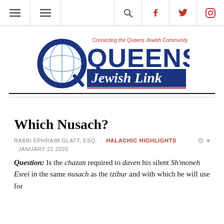Navigation bar with menu icons, search, Facebook, Twitter, Instagram
[Figure (logo): Queens Jewish Link logo — globe icon with Q, text 'QUEENS Jewish Link', tagline 'Connecting the Queens Jewish Community']
Which Nusach?
RABBI EPHRAIM GLATT, ESQ. . HALACHIC HIGHLIGHTS . JANUARY 22 2020
Question: Is the chazan required to daven his silent Sh'moneh Esrei in the same nusach as the tzibur and with which he will use for Chazaras HaShatz?